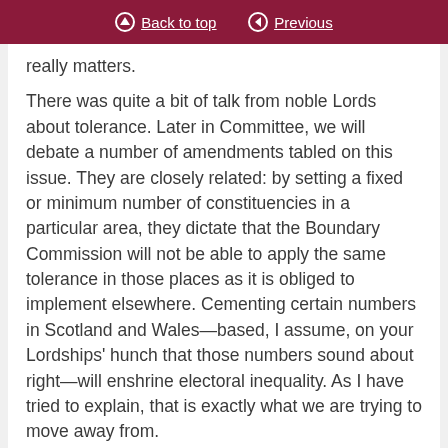Back to top | Previous
really matters.
There was quite a bit of talk from noble Lords about tolerance. Later in Committee, we will debate a number of amendments tabled on this issue. They are closely related: by setting a fixed or minimum number of constituencies in a particular area, they dictate that the Boundary Commission will not be able to apply the same tolerance in those places as it is obliged to implement elsewhere. Cementing certain numbers in Scotland and Wales—based, I assume, on your Lordships' hunch that those numbers sound about right—will enshrine electoral inequality. As I have tried to explain, that is exactly what we are trying to move away from.